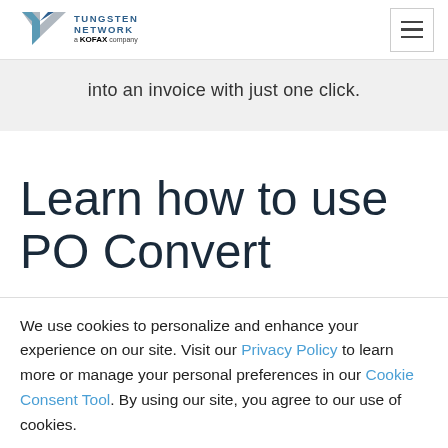Tungsten Network a KOFAX company
into an invoice with just one click.
Learn how to use PO Convert
We use cookies to personalize and enhance your experience on our site. Visit our Privacy Policy to learn more or manage your personal preferences in our Cookie Consent Tool. By using our site, you agree to our use of cookies.
Accept